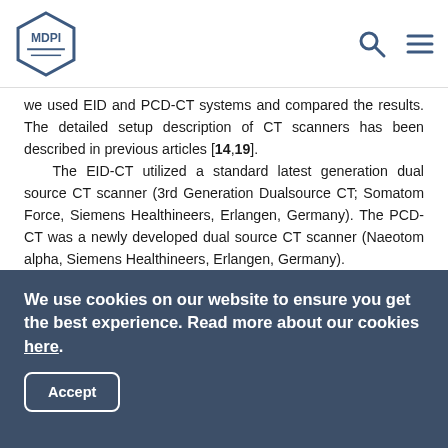MDPI
we used EID and PCD-CT systems and compared the results. The detailed setup description of CT scanners has been described in previous articles [14,19].

The EID-CT utilized a standard latest generation dual source CT scanner (3rd Generation Dualsource CT; Somatom Force, Siemens Healthineers, Erlangen, Germany). The PCD-CT was a newly developed dual source CT scanner (Naeotom alpha, Siemens Healthineers, Erlangen, Germany).

The following scan protocol was used for the dual source CT scanner: dual energy (DE) 80 kV/150 kV tin filtration; 29 mA, 4.16 CTDI, 192 × 0.6 mm collimation, 0.6 mm reconstruction thickness.
We use cookies on our website to ensure you get the best experience. Read more about our cookies here.